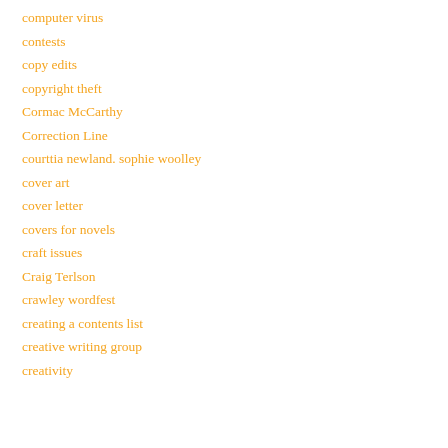computer virus
contests
copy edits
copyright theft
Cormac McCarthy
Correction Line
courttia newland. sophie woolley
cover art
cover letter
covers for novels
craft issues
Craig Terlson
crawley wordfest
creating a contents list
creative writing group
creativity